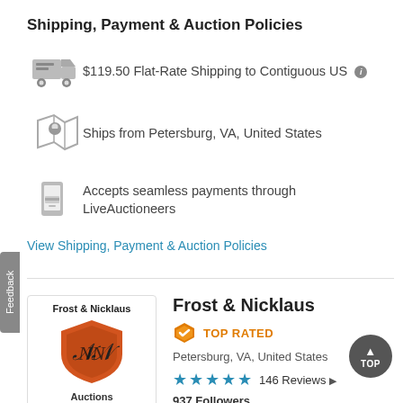Shipping, Payment & Auction Policies
$119.50 Flat-Rate Shipping to Contiguous US
Ships from Petersburg, VA, United States
Accepts seamless payments through LiveAuctioneers
View Shipping, Payment & Auction Policies
Frost & Nicklaus
TOP RATED
Petersburg, VA, United States
146 Reviews
937 Followers